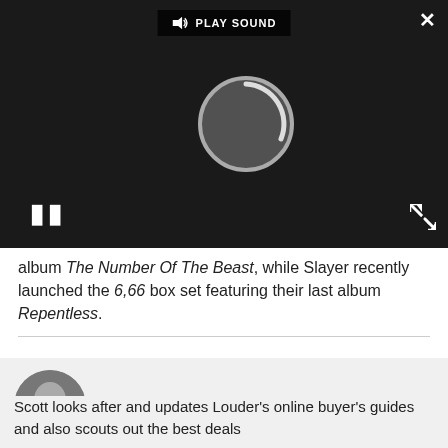[Figure (screenshot): Video player overlay with dark background, spinner/loading circle, pause button (two vertical bars), PLAY SOUND button at top, close X button top right, expand arrows bottom right]
album The Number Of The Beast, while Slayer recently launched the 6,66 box set featuring their last album Repentless.
[Figure (photo): Circular headshot of Scott Munro, a man with glasses and short grey beard]
Scott Munro
Scott looks after and updates Louder's online buyer's guides and also scouts out the best deals